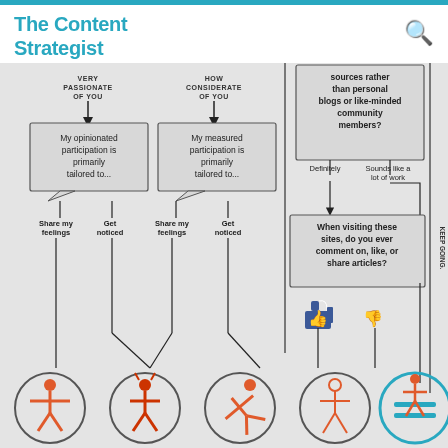The Content Strategist
[Figure (flowchart): A flowchart showing content strategist decision tree. Left side: 'VERY PASSIONATE OF YOU' and 'HOW CONSIDERATE OF YOU' branches leading to boxes 'My opinionated participation is primarily tailored to...' and 'My measured participation is primarily tailored to...' which branch to 'Share my feelings', 'Get noticed', 'Share my feelings', 'Get noticed'. Right side: question about sources rather than personal blogs with 'Definitely' and 'Sounds like a lot of work' branches, leading to 'When visiting these sites, do you ever comment on, like, or share articles?' with thumbs up (yes) and thumbs down (no) icons. Right edge: 'KEEP GOING.' label. Bottom: five circular icons with orange/red stick figures representing different content persona types, last one highlighted with teal circle and equals sign.]